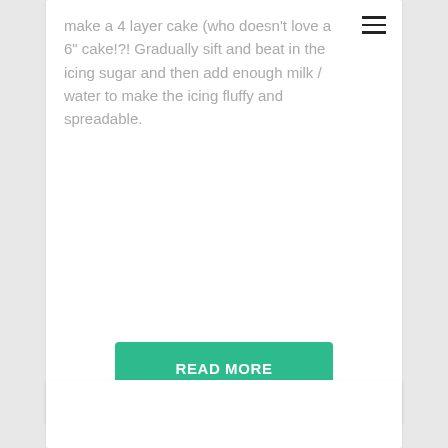make a 4 layer cake (who doesn't love a 6" cake!?! Gradually sift and beat in the icing sugar and then add enough milk / water to make the icing fluffy and spreadable.
READ MORE